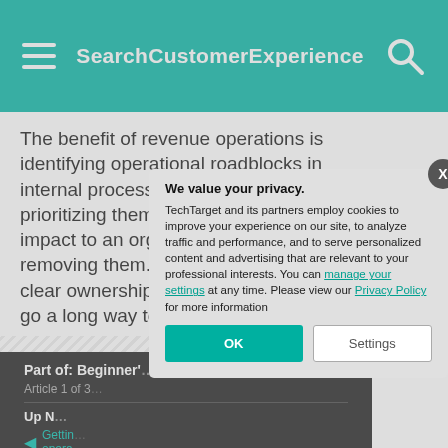SearchCustomerExperience
The benefit of revenue operations is identifying operational roadblocks in internal processes and tools, prioritizing them based on potential impact to an organization and removing them. Start by designating clear ownership of handoffs, which can go a long way to improving ope… CX.
Part of: Beginner'…
Article 1 of 3…
Up N… Getting… opera…
We value your privacy. TechTarget and its partners employ cookies to improve your experience on our site, to analyze traffic and performance, and to serve personalized content and advertising that are relevant to your professional interests. You can manage your settings at any time. Please view our Privacy Policy for more information